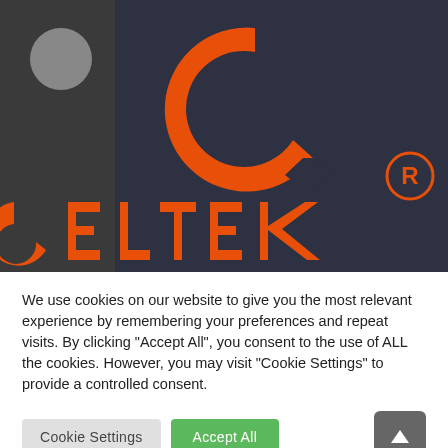[Figure (logo): Celtek logo on dark navy background showing large orange stylized C letter mark and partial orange CELTEK wordmark text with registered trademark symbol]
We use cookies on our website to give you the most relevant experience by remembering your preferences and repeat visits. By clicking "Accept All", you consent to the use of ALL the cookies. However, you may visit "Cookie Settings" to provide a controlled consent.
Cookie Settings
Accept All